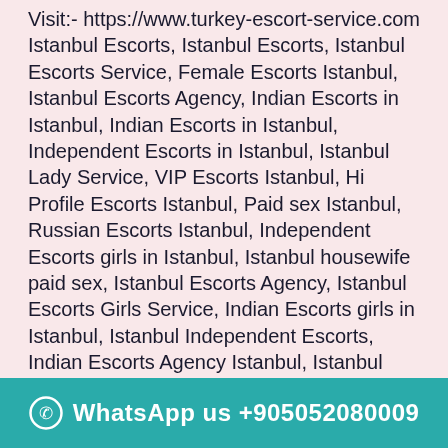Visit:- https://www.turkey-escort-service.com Istanbul Escorts, Istanbul Escorts, Istanbul Escorts Service, Female Escorts Istanbul, Istanbul Escorts Agency, Indian Escorts in Istanbul, Indian Escorts in Istanbul, Independent Escorts in Istanbul, Istanbul Lady Service, VIP Escorts Istanbul, Hi Profile Escorts Istanbul, Paid sex Istanbul, Russian Escorts Istanbul, Independent Escorts girls in Istanbul, Istanbul housewife paid sex, Istanbul Escorts Agency, Istanbul Escorts Girls Service, Indian Escorts girls in Istanbul, Istanbul Independent Escorts, Indian Escorts Agency Istanbul, Istanbul Escorts Girls Service. She loves to seduce, be seduced and She knows how to please. If you are looking for an elite courtesan, not just an escort, then She is your
WhatsApp us +905052080009